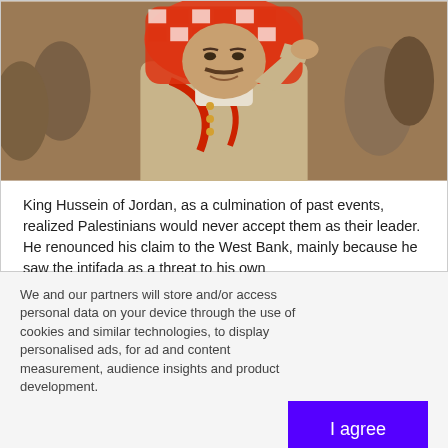[Figure (photo): Photo of King Hussein of Jordan in military uniform with red and white keffiyeh, saluting, surrounded by people in background]
King Hussein of Jordan, as a culmination of past events, realized Palestinians would never accept them as their leader. He renounced his claim to the West Bank, mainly because he saw the intifada as a threat to his own
We and our partners will store and/or access personal data on your device through the use of cookies and similar technologies, to display personalised ads, for ad and content measurement, audience insights and product development.

By clicking 'I agree,' you consent to this, or you can manage your preferences.